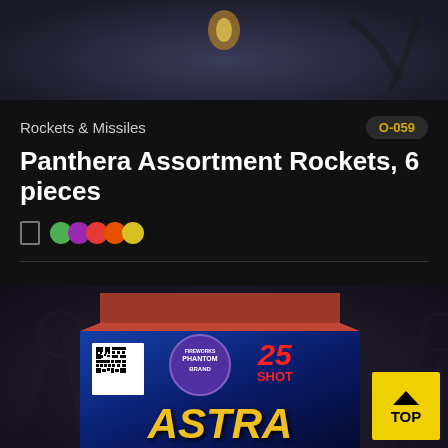[Figure (photo): Top portion of a fireworks product photo, dark background with faint sparkle/firework image at center top]
Rockets & Missiles
O-059
Panthera Assortment Rockets, 6 pieces
$39.99
Add to Favorites
[Figure (photo): Product photo of a fireworks box labeled 'Astra' by Phantom Brand, 25 Shot, with QR code on box, colorful action graphics on dark background]